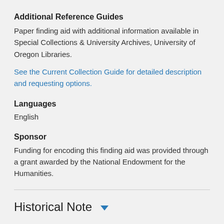Additional Reference Guides
Paper finding aid with additional information available in Special Collections & University Archives, University of Oregon Libraries.
See the Current Collection Guide for detailed description and requesting options.
Languages
English
Sponsor
Funding for encoding this finding aid was provided through a grant awarded by the National Endowment for the Humanities.
Historical Note